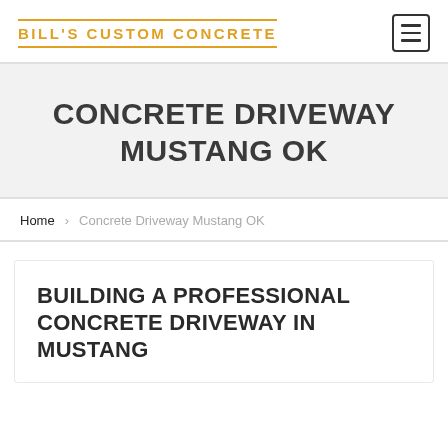BILL'S CUSTOM CONCRETE
CONCRETE DRIVEWAY MUSTANG OK
Home > Concrete Driveway Mustang OK
BUILDING A PROFESSIONAL CONCRETE DRIVEWAY IN MUSTANG